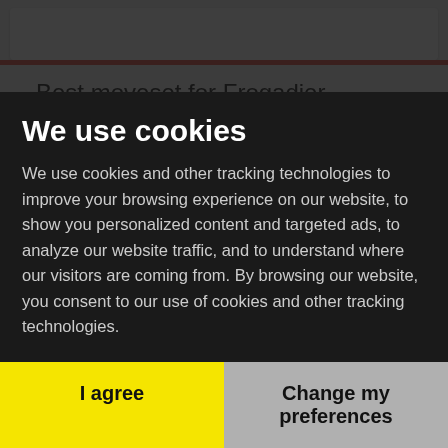[Figure (screenshot): White card area at top of webpage]
Best moveset for Frogadier
The best moves for Frogadier are Bubble and Surf when attacking Pokémon in Gyms. This move combination has the highest total DPS and is also the best moveset for PVP battles.
[Figure (screenshot): Dark background section showing defense moves with DPS values: Bubble 12 dps, Surf 45.9 dps, and another row showing 12 dps]
We use cookies
We use cookies and other tracking technologies to improve your browsing experience on our website, to show you personalized content and targeted ads, to analyze our website traffic, and to understand where our visitors are coming from. By browsing our website, you consent to our use of cookies and other tracking technologies.
I agree
Change my preferences